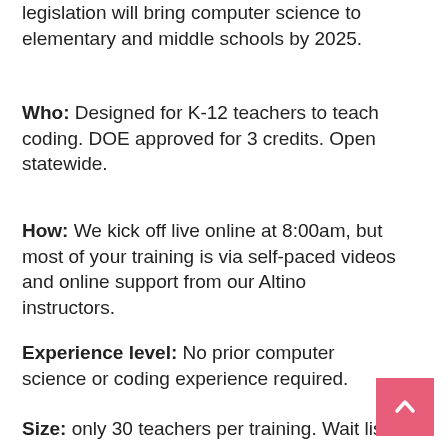legislation will bring computer science to elementary and middle schools by 2025.
Who: Designed for K-12 teachers to teach coding. DOE approved for 3 credits. Open statewide.
How: We kick off live online at 8:00am, but most of your training is via self-paced videos and online support from our Altino instructors.
Experience level: No prior computer science or coding experience required.
Size: only 30 teachers per training. Wait list for only 10.